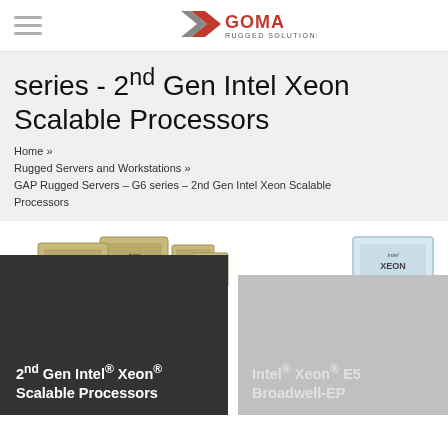GOMA RUGGED SOLUTIONS
series - 2nd Gen Intel Xeon Scalable Processors
Home »
Rugged Servers and Workstations »
GAP Rugged Servers – G6 series – 2nd Gen Intel Xeon Scalable Processors
[Figure (photo): Intel Xeon Platinum processor chips stacked on a dark pedestal block]
2nd Gen Intel® Xeon® Scalable Processors
[Figure (photo): Intel Xeon processor chip on a lighter gray pedestal block]
Intel® Xeon® E5 Broadwell-EP